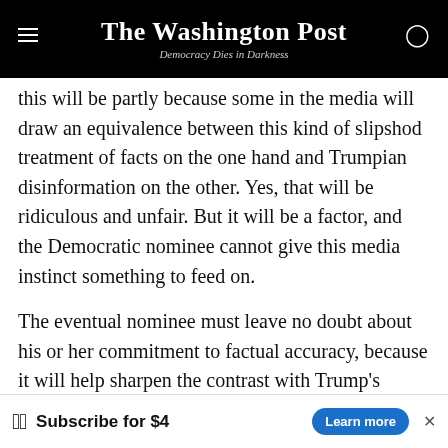The Washington Post — Democracy Dies in Darkness
this will be partly because some in the media will draw an equivalence between this kind of slipshod treatment of facts on the one hand and Trumpian disinformation on the other. Yes, that will be ridiculous and unfair. But it will be a factor, and the Democratic nominee cannot give this media instinct something to feed on.
The eventual nominee must leave no doubt about his or her commitment to factual accuracy, because it will help sharpen the contrast with Trump's unfitness — it will tell voters that the nominee is offering a sharp break with the pathologies of the Trump era. And
[Figure (other): Washington Post subscription advertisement banner: WP logo, 'Subscribe for $4', 'Learn more' button]